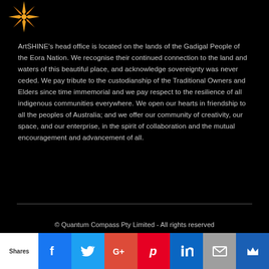[Figure (logo): ArtSHINE logo — a gold/orange starburst shape on black background, top-left corner]
ArtSHINE's head office is located on the lands of the Gadigal People of the Eora Nation. We recognise their continued connection to the land and waters of this beautiful place, and acknowledge sovereignty was never ceded. We pay tribute to the custodianship of the Traditional Owners and Elders since time immemorial and we pay respect to the resilience of all indigenous communities everywhere. We open our hearts in friendship to all the peoples of Australia; and we offer our community of creativity, our space, and our enterprise, in the spirit of collaboration and the mutual encouragement and advancement of all.
© Quantum Compass Pty Limited - All rights reserved
[Figure (infographic): Social sharing bar with: Shares label (white), Facebook (blue), Twitter (light blue), Google+ (red-orange), Pinterest (red), LinkedIn (blue), Email (grey), Crown/bookmark (dark blue) buttons]